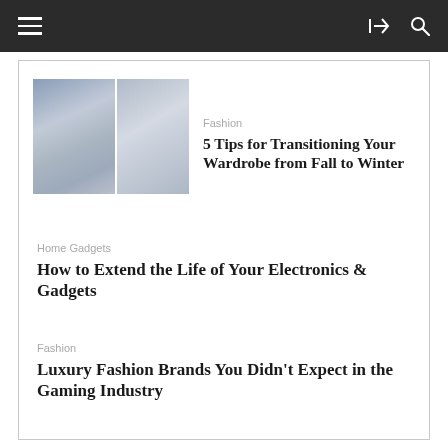Navigation bar with hamburger menu, share icon, and search icon
[Figure (photo): Two fashion photos side by side: left shows a woman in a floral dress, right shows a woman in a denim jacket]
Fashion
5 Tips for Transitioning Your Wardrobe from Fall to Winter
Home Gadgets
How to Extend the Life of Your Electronics & Gadgets
Fashion
Luxury Fashion Brands You Didn't Expect in the Gaming Industry